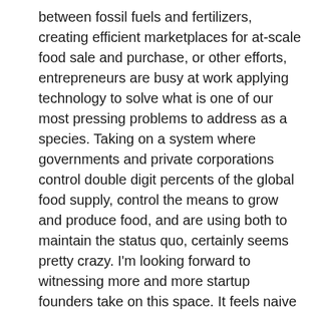between fossil fuels and fertilizers, creating efficient marketplaces for at-scale food sale and purchase, or other efforts, entrepreneurs are busy at work applying technology to solve what is one of our most pressing problems to address as a species. Taking on a system where governments and private corporations control double digit percents of the global food supply, control the means to grow and produce food, and are using both to maintain the status quo, certainly seems pretty crazy. I'm looking forward to witnessing more and more startup founders take on this space. It feels naive to think that startups alone will address world hunger, but it also feels like they are the only ones focused on finding efficient, new solutions.
Now to the developments that may make you think we're living in a scifi movie, and may even make you cringe. What is interesting is that these concepts are coming out of the lab and into real life in response to